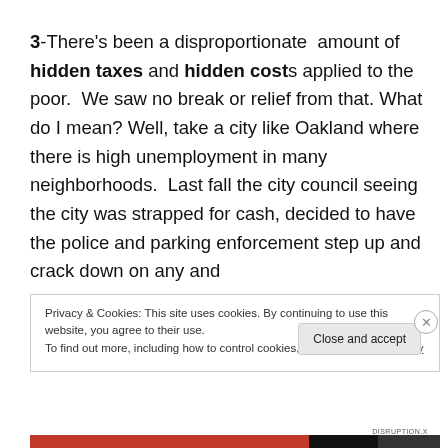3-There's been a disproportionate amount of hidden taxes and hidden costs applied to the poor. We saw no break or relief from that. What do I mean? Well, take a city like Oakland where there is high unemployment in many neighborhoods. Last fall the city council seeing the city was strapped for cash, decided to have the police and parking enforcement step up and crack down on any and
Privacy & Cookies: This site uses cookies. By continuing to use this website, you agree to their use.
To find out more, including how to control cookies, see here: Cookie Policy